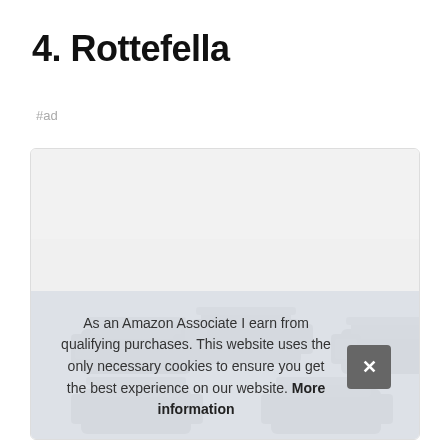4. Rottefella
#ad
[Figure (photo): Product photo of Rottefella ski bindings shown from above, black ski bindings with multiple toe pieces visible against a white background]
As an Amazon Associate I earn from qualifying purchases. This website uses the only necessary cookies to ensure you get the best experience on our website. More information